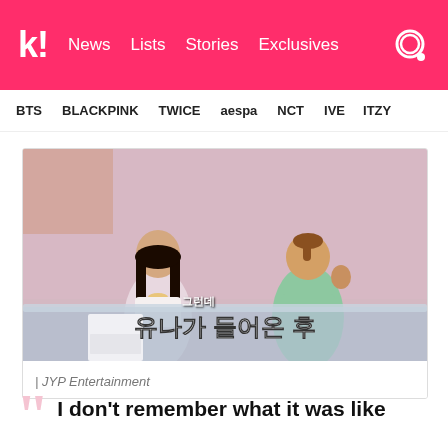k! News  Lists  Stories  Exclusives
BTS  BLACKPINK  TWICE  aespa  NCT  IVE  ITZY
[Figure (photo): Two women sitting at a desk/table in a pink studio setting. Korean subtitle text reads: 그런데 / 유나가 들어온 후]
| JYP Entertainment
I don't remember what it was like